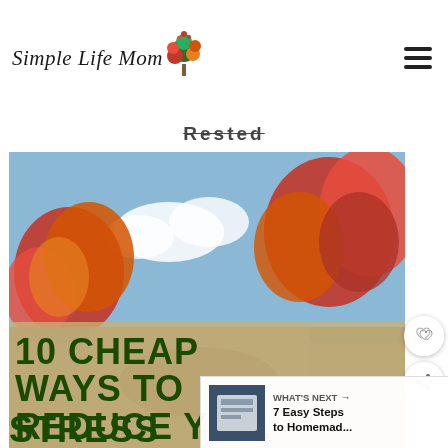Simple Life Mom
Rested
[Figure (photo): Autumn scene with colorful red/orange trees against a blue sky, with text overlay reading '10 CHEAP WAYS TO REDUCE YO... STRESS' in dark green bold font on a tan/khaki background strip]
WHAT'S NEXT → 7 Easy Steps to Homemad...